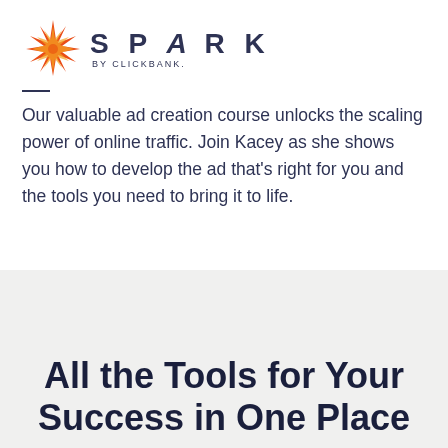[Figure (logo): Spark by ClickBank logo with orange/red star burst icon and dark navy text reading SPARK BY CLICKBANK.]
Our valuable ad creation course unlocks the scaling power of online traffic. Join Kacey as she shows you how to develop the ad that's right for you and the tools you need to bring it to life.
All the Tools for Your Success in One Place